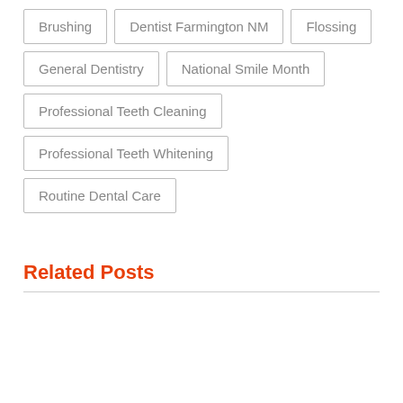Brushing
Dentist Farmington NM
Flossing
General Dentistry
National Smile Month
Professional Teeth Cleaning
Professional Teeth Whitening
Routine Dental Care
Related Posts